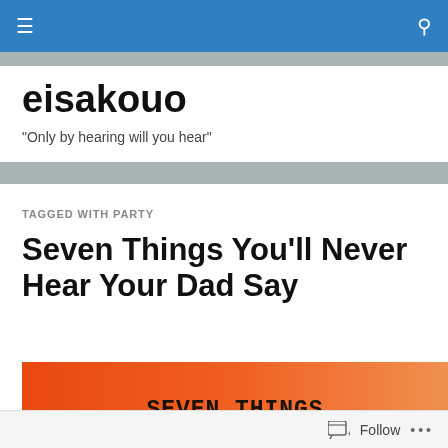eisakouo navigation bar
eisakouo
"Only by hearing will you hear"
TAGGED WITH PARTY
Seven Things You'll Never Hear Your Dad Say
[Figure (illustration): Orange gradient banner image with bold black stamped text reading SEVEN THINGS YOU'LL NEVER HEAR YOUR DAD SAY]
Follow ...